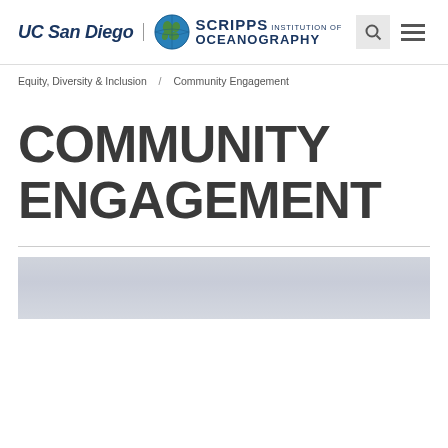UC San Diego | SCRIPPS Institution of OCEANOGRAPHY
Equity, Diversity & Inclusion / Community Engagement
COMMUNITY ENGAGEMENT
[Figure (photo): A light bluish-grey sky/ocean background photo strip serving as a banner image for the Community Engagement page.]